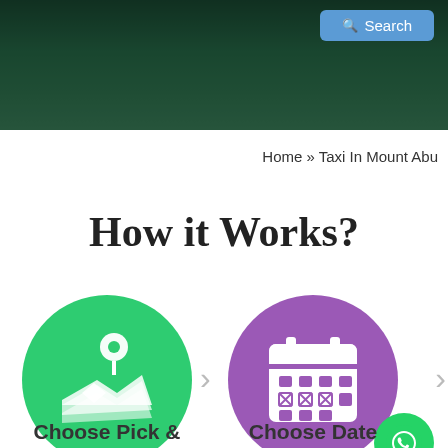[Figure (screenshot): Hero banner with dark green nature background and a blue Search button in top right corner]
Home » Taxi In Mount Abu
How it Works?
[Figure (infographic): Two step icons: green circle with map/location icon and purple circle with calendar icon, connected by chevron arrows. Labels: Choose Pick & and Choose Date]
Choose Pick &
Choose Date